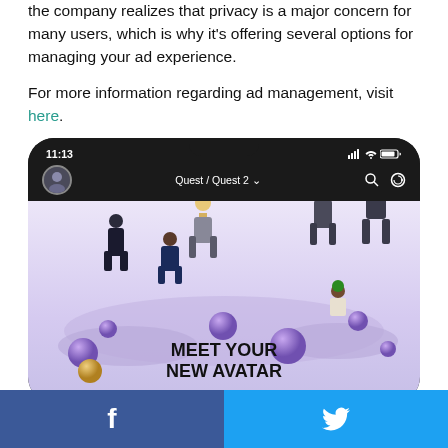the company realizes that privacy is a major concern for many users, which is why it's offering several options for managing your ad experience.
For more information regarding ad management, visit here.
[Figure (screenshot): Screenshot of a smartphone displaying the Meta Quest / Quest 2 app interface with avatars and text 'MEET YOUR NEW AVATAR']
[Figure (infographic): Social sharing bar at the bottom with Facebook (blue) and Twitter (light blue) buttons]